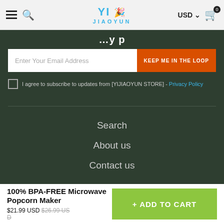YI JIAOYUN — USD — Cart (0)
Enter Your Email Address
KEEP ME IN THE LOOP
I agree to subscribe to updates from [YIJIAOYUN STORE] - Privacy Policy
Search
About us
Contact us
100% BPA-FREE Microwave Popcorn Maker
$21.99 USD $26.99 USD
+ ADD TO CART